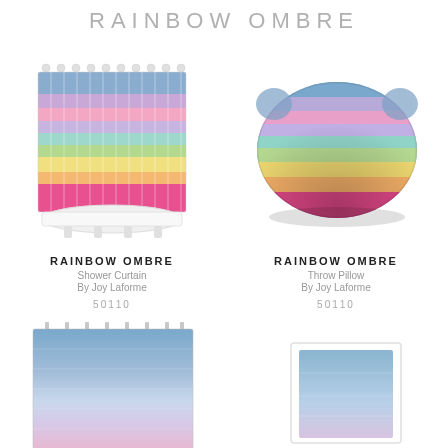RAINBOW OMBRE
[Figure (photo): Shower curtain with rainbow ombre horizontal stripes, mounted on a bathtub]
RAINBOW OMBRE
Shower Curtain
By Joy Laforme
50110
[Figure (photo): Throw pillow with rainbow ombre horizontal stripes]
RAINBOW OMBRE
Throw Pillow
By Joy Laforme
50110
[Figure (photo): Tapestry with blue-to-pastel rainbow ombre gradient]
[Figure (photo): Partial product with blue ombre, cropped at bottom of page]